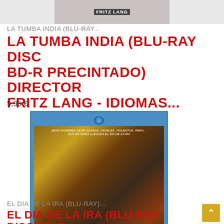[Figure (photo): Top portion of a Blu-ray disc product image for La Tumba India, director Fritz Lang, partially cropped at top of page]
LA TUMBA INDIA (BLU-RAY...
LA TUMBA INDIA (BLU-RAY DISC BD-R PRECINTADO) DIRECTOR FRITZ LANG - IDIOMAS...
5,95 €
[Figure (photo): Blu-ray disc product image for El Dia De La Ira featuring Lee Van Cleef and Giuliano Gemma, western movie cover art with cowboy figure holding guns]
EL DIA DE LA IRA (BLU-RAY)...
EL DIA DE LA IRA (BLU-RAY DISC BD-R ORIGINAL) PRECINTADO GIULIANO GEMM...